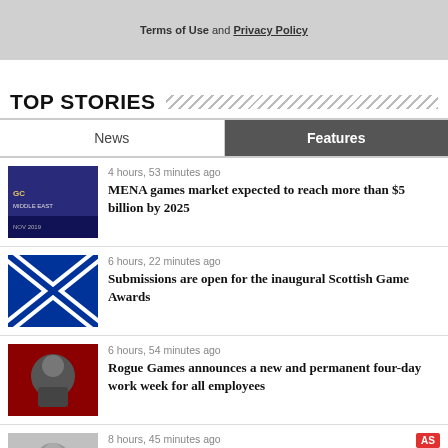Terms of Use and Privacy Policy
TOP STORIES
News | Features
4 hours, 53 minutes ago — MENA games market expected to reach more than $5 billion by 2025
6 hours, 22 minutes ago — Submissions are open for the inaugural Scottish Game Awards
6 hours, 54 minutes ago — Rogue Games announces a new and permanent four-day work week for all employees
8 hours, 45 minutes ago — Netmarble reveals financial earnings for second quarter of 2022
9 hours, 29 minutes ago